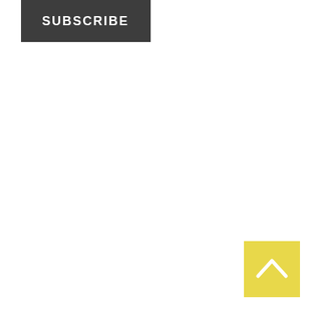[Figure (other): Dark grey rectangular button with white bold uppercase text reading SUBSCRIBE]
[Figure (other): Yellow square button with white upward-pointing chevron/caret arrow in the bottom-right corner of the page]